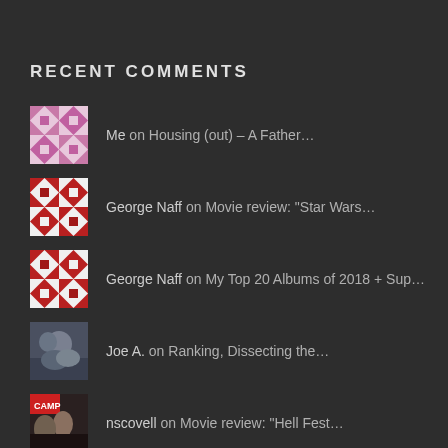RECENT COMMENTS
Me on Housing (out) – A Father…
George Naff on Movie review: "Star Wars…
George Naff on My Top 20 Albums of 2018 + Sup…
Joe A. on Ranking, Dissecting the…
nscovell on Movie review: "Hell Fest…